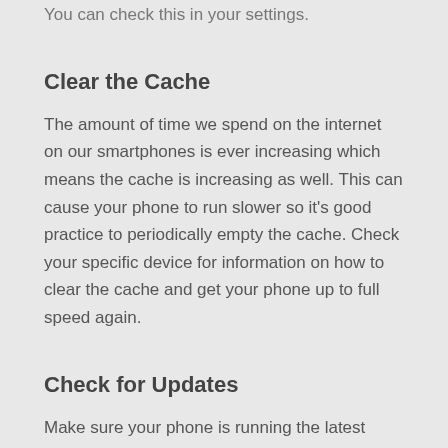You can check this in your settings.
Clear the Cache
The amount of time we spend on the internet on our smartphones is ever increasing which means the cache is increasing as well. This can cause your phone to run slower so it's good practice to periodically empty the cache. Check your specific device for information on how to clear the cache and get your phone up to full speed again.
Check for Updates
Make sure your phone is running the latest version of software to ensure you have the latest security and any new features available. Keeping your phone updated will ensure it's running at its best and give it a new lease of life!
Final tip- make sure you regularly clean your phone (especially the screen). A lint free cloth and lens cleaning solution will have your phone looking pristine in no time!